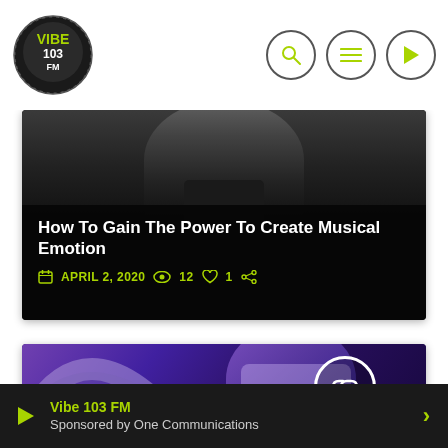Vibe 103 FM — navigation header with logo, search, menu, and play icons
[Figure (screenshot): Dark photo of a person's silhouette/shoulders against a dark background, used as article card hero image]
How To Gain The Power To Create Musical Emotion
APRIL 2, 2020  👁 12  ♡ 1  🔗
[Figure (photo): Purple-toned photo of a DJ with VR headset and headphones in a dark environment, with link and share icons overlaid]
Vibe 103 FM — Sponsored by One Communications